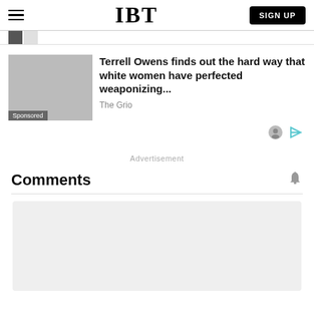IBT | SIGN UP
[Figure (screenshot): Sponsored advertisement with image placeholder, headline 'Terrell Owens finds out the hard way that white women have perfected weaponizing...', source 'The Grio', with Sponsored label and ad icons]
Advertisement
Comments
[Figure (other): Light gray comments input/display area placeholder]